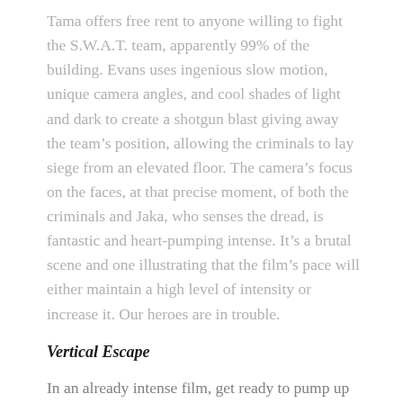Tama offers free rent to anyone willing to fight the S.W.A.T. team, apparently 99% of the building. Evans uses ingenious slow motion, unique camera angles, and cool shades of light and dark to create a shotgun blast giving away the team's position, allowing the criminals to lay siege from an elevated floor. The camera's focus on the faces, at that precise moment, of both the criminals and Jaka, who senses the dread, is fantastic and heart-pumping intense. It's a brutal scene and one illustrating that the film's pace will either maintain a high level of intensity or increase it. Our heroes are in trouble.
Vertical Escape
In an already intense film, get ready to pump up the pressure. As the S.W.A.T. team flees into an apartment, they fight off people, get shot by snipers, and repeatedly swing an axe to break through the floor to jump down. After